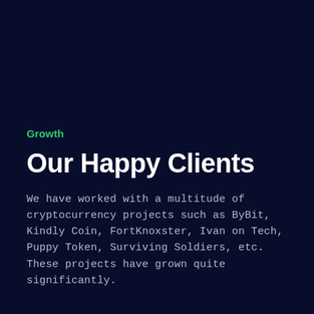Growth
Our Happy Clients
We have worked with a multitude of cryptocurrency projects such as ByBit, Kindly Coin, FortKnoxster, Ivan on Tech, Puppy Token, Surviving Soldiers, etc. These projects have grown quite significantly.